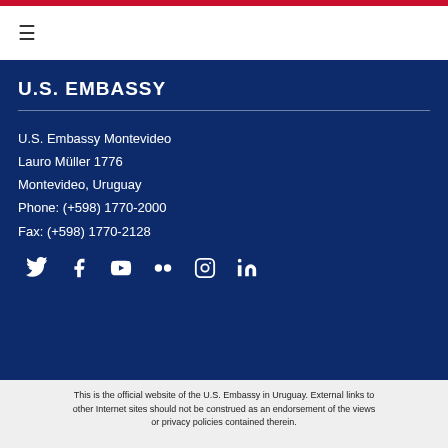U.S. EMBASSY
U.S. Embassy Montevideo
Lauro Müller 1776
Montevideo, Uruguay
Phone: (+598) 1770-2000
Fax: (+598) 1770-2128
[Figure (infographic): Row of social media icons: Twitter, Facebook, YouTube, Flickr, Instagram, LinkedIn]
This is the official website of the U.S. Embassy in Uruguay. External links to other Internet sites should not be construed as an endorsement of the views or privacy policies contained therein.